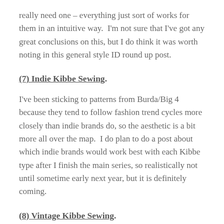really need one – everything just sort of works for them in an intuitive way.  I'm not sure that I've got any great conclusions on this, but I do think it was worth noting in this general style ID round up post.
(7) Indie Kibbe Sewing.
I've been sticking to patterns from Burda/Big 4 because they tend to follow fashion trend cycles more closely than indie brands do, so the aesthetic is a bit more all over the map.  I do plan to do a post about which indie brands would work best with each Kibbe type after I finish the main series, so realistically not until sometime early next year, but it is definitely coming.
(8) Vintage Kibbe Sewing.
This ties into my point of fashion trend cycles from above; there